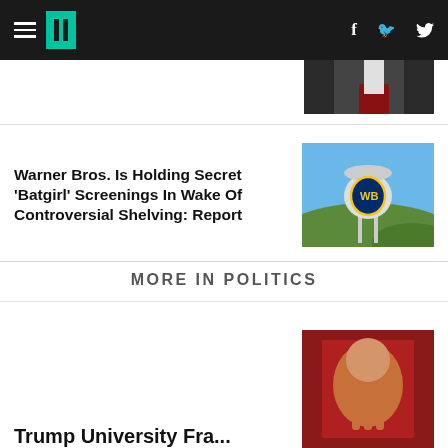HuffPost navigation with hamburger menu, logo, Facebook and Twitter icons
[Figure (photo): Partial photo of person in suit with red tie, top-right corner]
Warner Bros. Is Holding Secret 'Batgirl' Screenings In Wake Of Controversial Shelving: Report
[Figure (photo): Warner Bros. water tower with WB shield logo against blue sky and hills]
MORE IN POLITICS
[Figure (photo): Partial photo bottom right, person with red background]
Trump University Fra... (truncated)